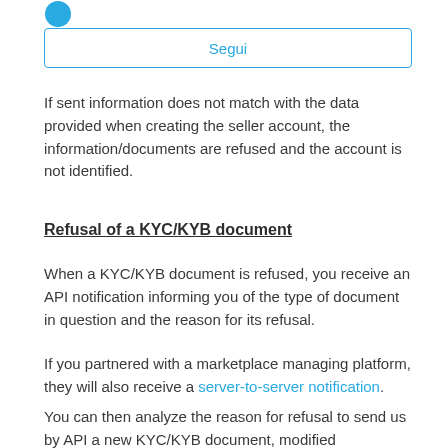[Figure (logo): Blue circular logo/icon in top-left corner]
Segui
If sent information does not match with the data provided when creating the seller account, the information/documents are refused and the account is not identified.
Refusal of a KYC/KYB document
When a KYC/KYB document is refused, you receive an API notification informing you of the type of document in question and the reason for its refusal.
If you partnered with a marketplace managing platform, they will also receive a server-to-server notification.
You can then analyze the reason for refusal to send us by API a new KYC/KYB document, modified accordingly, to